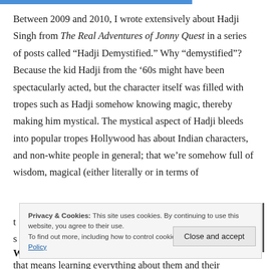Between 2009 and 2010, I wrote extensively about Hadji Singh from The Real Adventures of Jonny Quest in a series of posts called “Hadji Demystified.” Why “demystified”? Because the kid Hadji from the ’60s might have been spectacularly acted, but the character itself was filled with tropes such as Hadji somehow knowing magic, thereby making him mystical. The mystical aspect of Hadji bleeds into popular tropes Hollywood has about Indian characters, and non-white people in general; that we’re somehow full of wisdom, magical (either literally or in terms of t... s... W... that means learning everything about them and their backgrounds.
Privacy & Cookies: This site uses cookies. By continuing to use this website, you agree to their use.
To find out more, including how to control cookies, see here: Cookie Policy